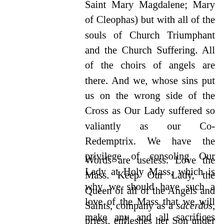Saint Mary Magdalene; Mary of Cleophas) but with all of the souls of Church Triumphant and the Church Suffering. All of the choirs of angels are there. And we, whose sins put us on the wrong side of the Cross as Our Lady suffered so valiantly as our Co-Redemptrix. We have the privilege of consoling Our Lady at Holy Mass, which is why we should have such a love of the Mass that we will make any and all sacrifices imaginable, including (as mentioned before) moving if necessary to have access to the Immemorial Mass of Tradition on a daily basis.
Words are useless. Love the Mass. Keep Our Lady, the Queen of all of the Angels and Saints, company as a sacerdos, priest, enfleshes her Son under the appearances of bread and wine. The more frequently we assist